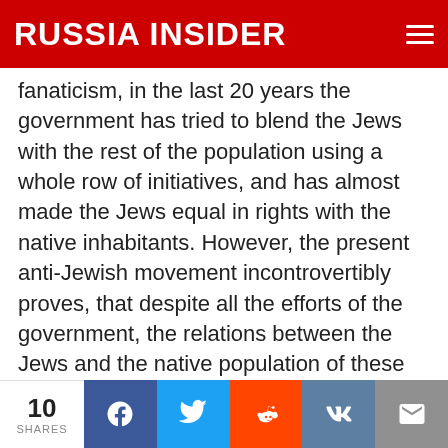RUSSIA INSIDER
fanaticism, in the last 20 years the government has tried to blend the Jews with the rest of the population using a whole row of initiatives, and has almost made the Jews equal in rights with the native inhabitants. However, the present anti-Jewish movement incontrovertibly proves, that despite all the efforts of the government, the relations between the Jews and the native population of these regions remain abnormal as in the past, because of the economic issues: after the easing of civil restrictions, the Jews have not only seized
10 SHARES  [Facebook] [Twitter] [Reddit] [VK] [Email]